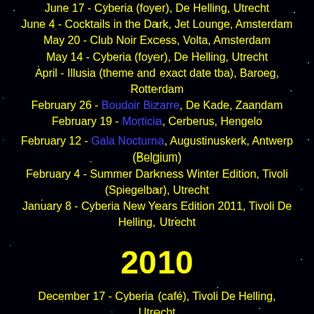June 17 - Cyberia (foyer), De Helling, Utrecht
June 4 - Cocktails in the Dark, Jet Lounge, Amsterdam
May 20 - Club Noir Excess, Volta, Amsterdam
May 14 - Cyberia (foyer), De Helling, Utrecht
April - Illusia (theme and exact date tba), Baroeg, Rotterdam
February 26 - Boudoir Bizarre, De Kade, Zaandam
February 19 - Morticia, Cerberus, Hengelo
February 12 - Gala Nocturna, Augustinuskerk, Antwerp (Belgium)
February 4 - Summer Darkness Winter Edition, Tivoli (Spiegelbar), Utrecht
January 8 - Cyberia New Years Edition 2011, Tivoli De Helling, Utrecht
2010
December 17 - Cyberia (café), Tivoli De Helling, Utrecht
November 20 - Cyberia (café), Tivoli De Helling